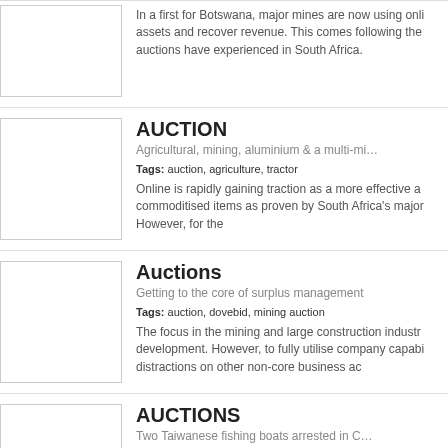In a first for Botswana, major mines are now using onli... assets and recover revenue. This comes following the ... auctions have experienced in South Africa.
AUCTION
Agricultural, mining, aluminium & a multi-mi…
Tags: auction, agriculture, tractor
Online is rapidly gaining traction as a more effective a... commoditised items as proven by South Africa's major... However, for the
Auctions
Getting to the core of surplus management
Tags: auction, dovebid, mining auction
The focus in the mining and large construction industr... development. However, to fully utilise company capabi... distractions on other non-core business ac
AUCTIONS
Two Taiwanese fishing boats arrested in C…
Tags: taiwan, clear asset, online auction, auction, cape town, cape to...
In November of 2014, two Taiwanese longline fishing v... Town harbour. Having since been seized and now bec...